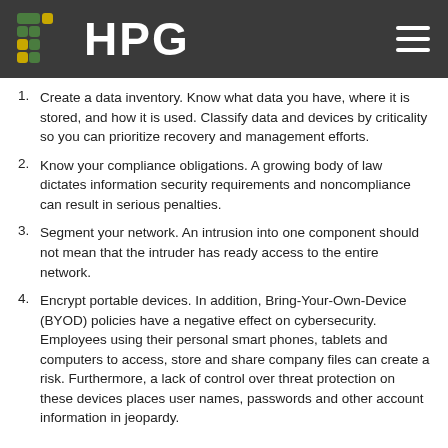HPG
Create a data inventory. Know what data you have, where it is stored, and how it is used. Classify data and devices by criticality so you can prioritize recovery and management efforts.
Know your compliance obligations. A growing body of law dictates information security requirements and noncompliance can result in serious penalties.
Segment your network. An intrusion into one component should not mean that the intruder has ready access to the entire network.
Encrypt portable devices. In addition, Bring-Your-Own-Device (BYOD) policies have a negative effect on cybersecurity. Employees using their personal smart phones, tablets and computers to access, store and share company files can create a risk. Furthermore, a lack of control over threat protection on these devices places user names, passwords and other account information in jeopardy.